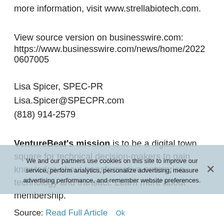more information, visit www.strellabiotech.com.
View source version on businesswire.com:
https://www.businesswire.com/news/home/20220607005
Lisa Spicer, SPEC-PR
Lisa.Spicer@SPECPR.com
(818) 914-2579
VentureBeat's mission is to be a digital town square for technical decision-makers to gain knowledge about transformative enterprise technology and transact. Learn more about membership.
We and our partners use cookies on this site to improve our service, perform analytics, personalize advertising, measure advertising performance, and remember website preferences.
Source: Read Full Article